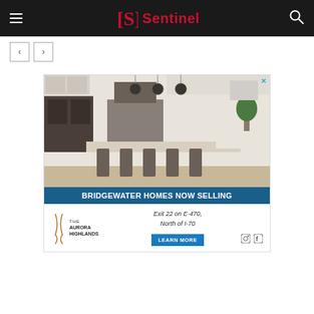Sentinel
[Figure (screenshot): Sentinel news website screenshot showing navigation header with hamburger menu, Sentinel logo (red S icon and red Sentinel text) on dark background, and search icon. Below header are back/forward navigation buttons. Below that is an advertisement for The Aurora Highlands housing development showing a modern kitchen photo, 'BRIDGEWATER HOMES NOW SELLING' banner in blue, and bottom section with The Aurora Highlands logo, 'Exit 22 on E-470, North of I-70' text, 'LEARN MORE' blue button, and social media icons.]